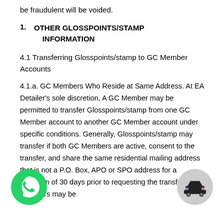be fraudulent will be voided.
1. OTHER GLOSSPOINTS/STAMP INFORMATION
4.1 Transferring Glosspoints/stamp to GC Member Accounts
4.1.a. GC Members Who Reside at Same Address. At EA Detailer's sole discretion, A GC Member may be permitted to transfer Glosspoints/stamp from one GC Member account to another GC Member account under specific conditions. Generally, Glosspoints/stamp may transfer if both GC Members are active, consent to the transfer, and share the same residential mailing address that is not a P.O. Box, APO or SPO address for a minimum of 30 days prior to requesting the transfer. GC Members may be
[Figure (logo): WhatsApp green circular button with phone icon]
[Figure (logo): Grey circular button with car icon]